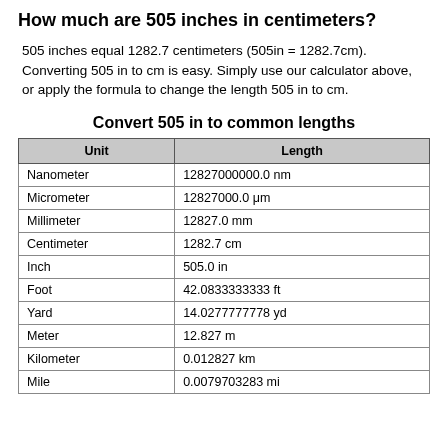How much are 505 inches in centimeters?
505 inches equal 1282.7 centimeters (505in = 1282.7cm). Converting 505 in to cm is easy. Simply use our calculator above, or apply the formula to change the length 505 in to cm.
Convert 505 in to common lengths
| Unit | Length |
| --- | --- |
| Nanometer | 12827000000.0 nm |
| Micrometer | 12827000.0 μm |
| Millimeter | 12827.0 mm |
| Centimeter | 1282.7 cm |
| Inch | 505.0 in |
| Foot | 42.0833333333 ft |
| Yard | 14.0277777778 yd |
| Meter | 12.827 m |
| Kilometer | 0.012827 km |
| Mile | 0.0079703283 mi |